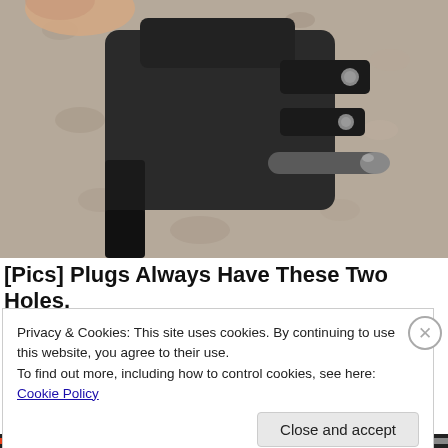[Figure (photo): A hand holding a black 3-prong electrical plug, showing the two flat prongs and one round ground prong, with a concrete/gravel background.]
[Pics] Plugs Always Have These Two Holes,
Privacy & Cookies: This site uses cookies. By continuing to use this website, you agree to their use.
To find out more, including how to control cookies, see here: Cookie Policy